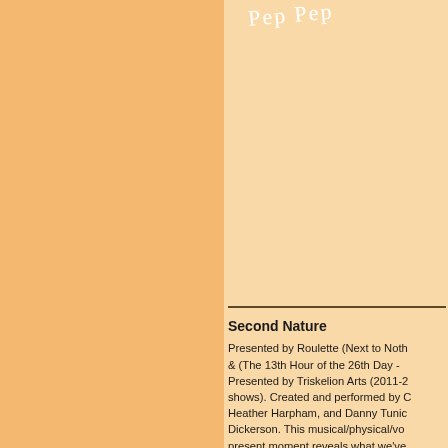[Figure (illustration): Two-tone orange background split vertically; left panel is darker orange, right panel is lighter peach-orange. Handwritten white text at top right partially visible.]
Second Nature
Presented by Roulette (Next to Noth & (The 13th Hour of the 26th Day - Presented by Triskelion Arts (2011-2 shows). Created and performed by C Heather Harpham, and Danny Tunic Dickerson. This musical/physical/vo present moment reveals what we've